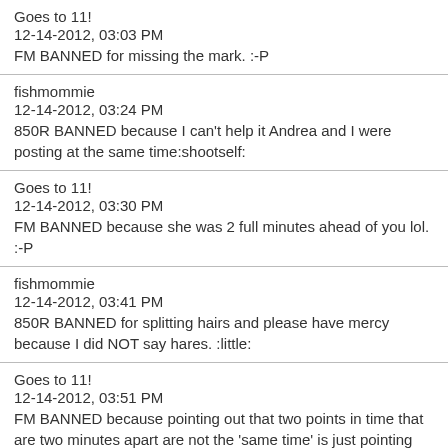Goes to 11!
12-14-2012, 03:03 PM
FM BANNED for missing the mark. :-P
fishmommie
12-14-2012, 03:24 PM
850R BANNED because I can't help it Andrea and I were posting at the same time:shootself:
Goes to 11!
12-14-2012, 03:30 PM
FM BANNED because she was 2 full minutes ahead of you lol. :-P
fishmommie
12-14-2012, 03:41 PM
850R BANNED for splitting hairs and please have mercy because I did NOT say hares. :little:
Goes to 11!
12-14-2012, 03:51 PM
FM BANNED because pointing out that two points in time that are two minutes apart are not the 'same time' is just pointing out the obvious.
steeler58